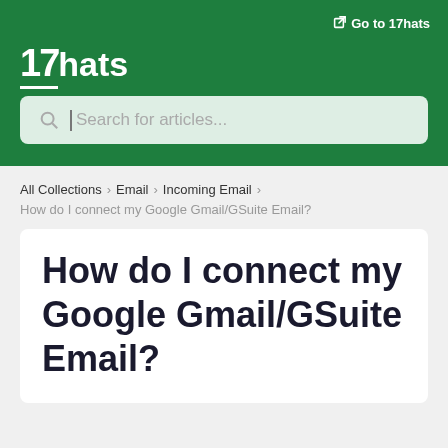Go to 17hats
[Figure (logo): 17hats logo in white on green background]
Search for articles...
All Collections > Email > Incoming Email >
How do I connect my Google Gmail/GSuite Email?
How do I connect my Google Gmail/GSuite Email?